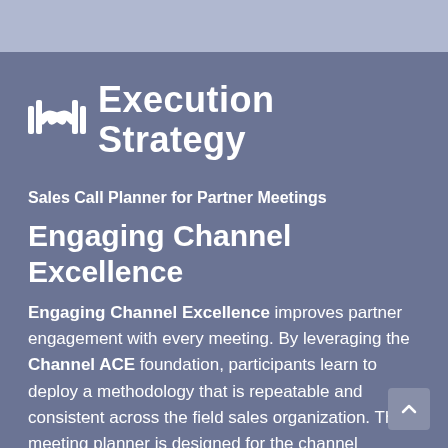Execution Strategy
Sales Call Planner for Partner Meetings
Engaging Channel Excellence
Engaging Channel Excellence improves partner engagement with every meeting. By leveraging the Channel ACE foundation, participants learn to deploy a methodology that is repeatable and consistent across the field sales organization. This meeting planner is designed for the channel relationship. Sales Reps and Channel Managers learn to use the